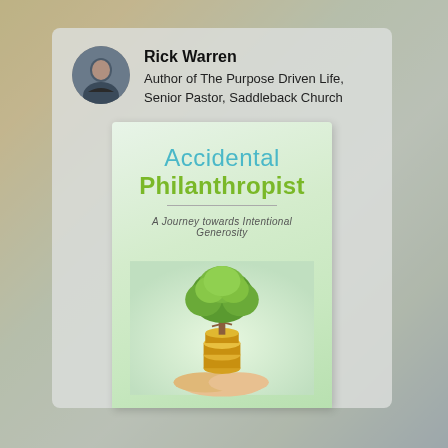[Figure (photo): Circular avatar photo of Rick Warren, a middle-aged man in dark clothing]
Rick Warren
Author of The Purpose Driven Life, Senior Pastor, Saddleback Church
[Figure (photo): Book cover of 'Accidental Philanthropist: A Journey towards Intentional Generosity' featuring a tree growing from coins held in hands, on a light green background]